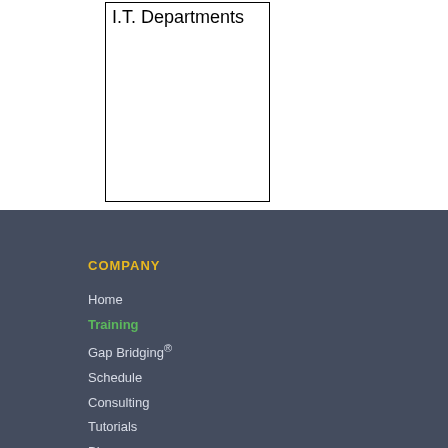[Figure (other): A bordered rectangle box with the label 'I.T. Departments' at the top left inside the box. The box is mostly empty white space.]
COMPANY
Home
Training
Gap Bridging®
Schedule
Consulting
Tutorials
Blog